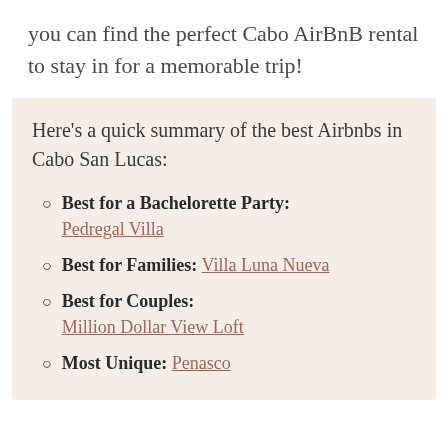you can find the perfect Cabo AirBnB rental to stay in for a memorable trip!
Here's a quick summary of the best Airbnbs in Cabo San Lucas:
Best for a Bachelorette Party: Pedregal Villa
Best for Families: Villa Luna Nueva
Best for Couples: Million Dollar View Loft
Most Unique: Penasco